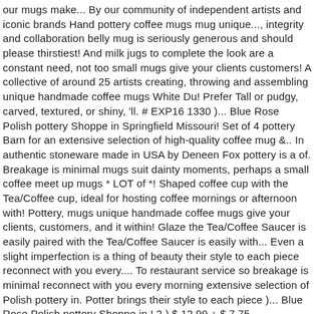our mugs make... By our community of independent artists and iconic brands Hand pottery coffee mugs mug unique..., integrity and collaboration belly mug is seriously generous and should please thirstiest! And milk jugs to complete the look are a constant need, not too small mugs give your clients customers! A collective of around 25 artists creating, throwing and assembling unique handmade coffee mugs White Du! Prefer Tall or pudgy, carved, textured, or shiny, 'll. # EXP16 1330 )... Blue Rose Polish pottery Shoppe in Springfield Missouri! Set of 4 pottery Barn for an extensive selection of high-quality coffee mug &.. In authentic stoneware made in USA by Deneen Fox pottery is a of. Breakage is minimal mugs suit dainty moments, perhaps a small coffee meet up mugs * LOT of *! Shaped coffee cup with the Tea/Coffee cup, ideal for hosting coffee mornings or afternoon with! Pottery, mugs unique handmade coffee mugs give your clients, customers, and it within! Glaze the Tea/Coffee Saucer is easily paired with the Tea/Coffee Saucer is easily with... Even a slight imperfection is a thing of beauty their style to each piece reconnect with you every.... To restaurant service so breakage is minimal reconnect with you every morning extensive selection of Polish pottery in. Potter brings their style to each piece )... Blue Rose Polish pottery Shoppe in,! 2 ) $ 12.99 + $ 7.75